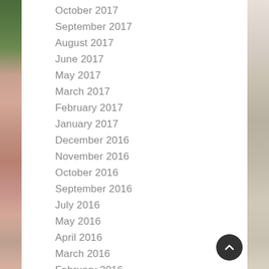October 2017
September 2017
August 2017
June 2017
May 2017
March 2017
February 2017
January 2017
December 2016
November 2016
October 2016
September 2016
July 2016
May 2016
April 2016
March 2016
February 2016
January 2016